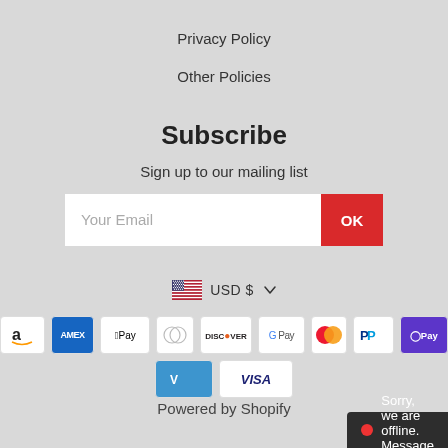Privacy Policy
Other Policies
Subscribe
Sign up to our mailing list
[Figure (screenshot): Email subscription form with 'Your Email' input field and red OK button]
[Figure (infographic): Currency selector showing US flag and USD $ with dropdown chevron]
[Figure (infographic): Payment method icons: Amazon, Amex, Apple Pay, Diners Club, Discover, Google Pay, Mastercard, PayPal, Shop Pay, Venmo, Visa]
Powered by Shopify
Sorry, we are offline. Message us.